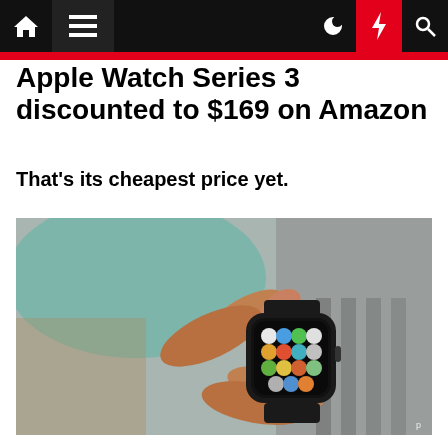Navigation bar with home, menu, moon, lightning, and search icons
Apple Watch Series 3 discounted to $169 on Amazon
That's its cheapest price yet.
[Figure (photo): A hand holding an Apple Watch Series 3 displaying the app grid screen, with a blurred background.]